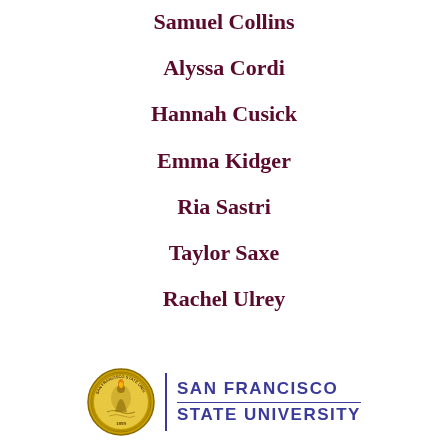Samuel Collins
Alyssa Cordi
Hannah Cusick
Emma Kidger
Ria Sastri
Taylor Saxe
Rachel Ulrey
[Figure (logo): San Francisco State University seal and wordmark logo]